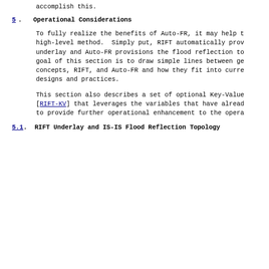accomplish this.
5.  Operational Considerations
To fully realize the benefits of Auto-FR, it may help t high-level method.  Simply put, RIFT automatically prov underlay and Auto-FR provisions the flood reflection to goal of this section is to draw simple lines between ge concepts, RIFT, and Auto-FR and how they fit into curre designs and practices.
This section also describes a set of optional Key-Value [RIFT-KV] that leverages the variables that have alread to provide further operational enhancement to the opera
5.1.  RIFT Underlay and IS-IS Flood Reflection Topology